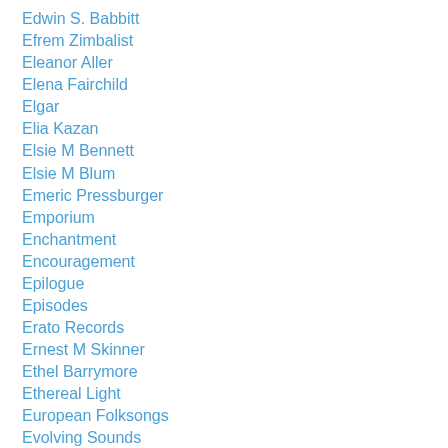Edwin S. Babbitt
Efrem Zimbalist
Eleanor Aller
Elena Fairchild
Elgar
Elia Kazan
Elsie M Bennett
Elsie M Blum
Emeric Pressburger
Emporium
Enchantment
Encouragement
Epilogue
Episodes
Erato Records
Ernest M Skinner
Ethel Barrymore
Ethereal Light
European Folksongs
Evolving Sounds